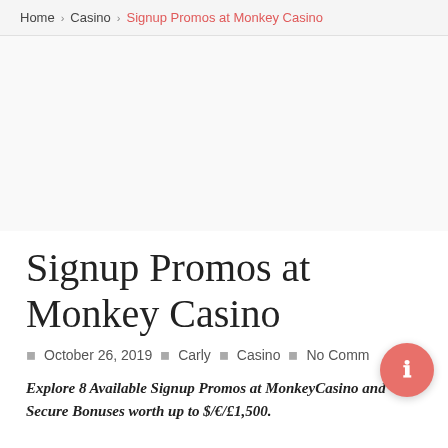Home › Casino › Signup Promos at Monkey Casino
[Figure (other): Advertisement placeholder area (blank white space)]
Signup Promos at Monkey Casino
October 26, 2019  Carly  Casino  No Comments
Explore 8 Available Signup Promos at MonkeyCasino and Secure Bonuses worth up to $/€/£1,500.